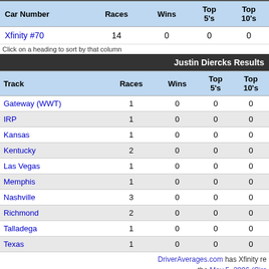| Car Number | Races | Wins | Top 5's | Top 10's |
| --- | --- | --- | --- | --- |
| Xfinity #70 | 14 | 0 | 0 | 0 |
Click on a heading to sort by that column
Justin Diercks Results
| Track | Races | Wins | Top 5's | Top 10's |
| --- | --- | --- | --- | --- |
| Gateway (WWT) | 1 | 0 | 0 | 0 |
| IRP | 1 | 0 | 0 | 0 |
| Kansas | 1 | 0 | 0 | 0 |
| Kentucky | 2 | 0 | 0 | 0 |
| Las Vegas | 1 | 0 | 0 | 0 |
| Memphis | 1 | 0 | 0 | 0 |
| Nashville | 3 | 0 | 0 | 0 |
| Richmond | 2 | 0 | 0 | 0 |
| Talladega | 1 | 0 | 0 | 0 |
| Texas | 1 | 0 | 0 | 0 |
DriverAverages.com has Xfinity results from the May 5, 2006 (Circ the June 16, 2007 (Meijer 30